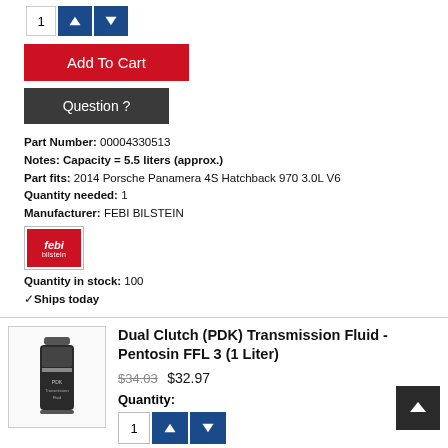Quantity selector with up/down arrows
Add To Cart
Question ?
Part Number: 00004330513
Notes: Capacity = 5.5 liters (approx.)
Part fits: 2014 Porsche Panamera 4S Hatchback 970 3.0L V6
Quantity needed: 1
Manufacturer: FEBI BILSTEIN
[Figure (logo): FEBI BILSTEIN logo - red background with white febi bilstein text]
Quantity in stock: 100
✓Ships today
[Figure (photo): Product image of Dual Clutch PDK Transmission Fluid bottle - dark bottle]
Dual Clutch (PDK) Transmission Fluid - Pentosin FFL 3 (1 Liter)
$34.03 $32.97
Quantity:
Add To Cart